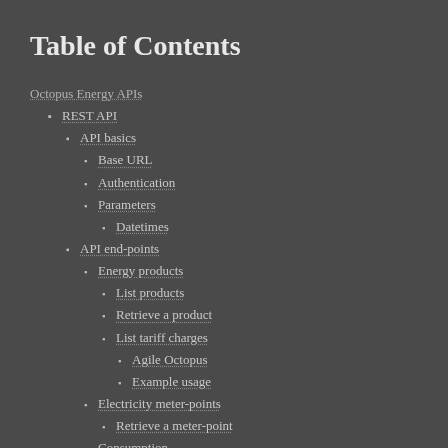Table of Contents
Octopus Energy APIs
REST API
API basics
Base URL
Authentication
Parameters
Datetimes
API end-points
Energy products
List products
Retrieve a product
List tariff charges
Agile Octopus
Example usage
Electricity meter-points
Retrieve a meter-point
Consumption
List consumption for a meter